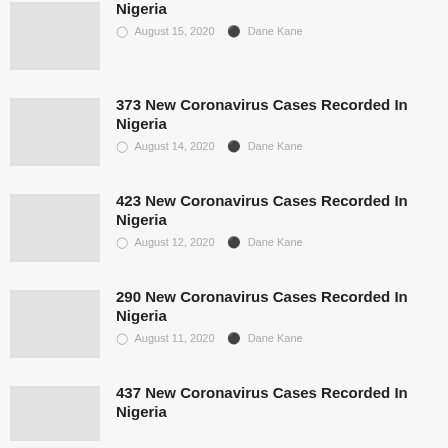Nigeria — August 15, 2020, Dane Kane
373 New Coronavirus Cases Recorded In Nigeria — August 14, 2020, Dane Kane
423 New Coronavirus Cases Recorded In Nigeria — August 12, 2020, Dane Kane
290 New Coronavirus Cases Recorded In Nigeria — August 11, 2020, Dane Kane
437 New Coronavirus Cases Recorded In Nigeria (partial)